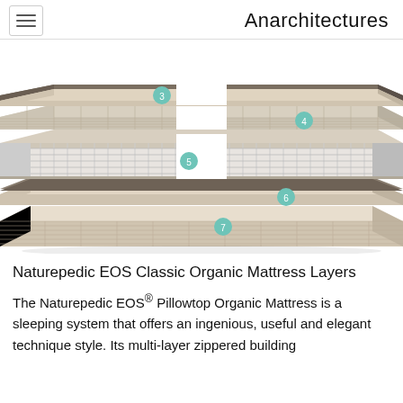Anarchitectures
[Figure (illustration): Exploded diagram of Naturepedic EOS Classic Organic Mattress showing numbered layers (3, 4, 5, 6, 7) in a cutaway 3D view. Each layer is labeled with a teal numbered circle. The layers show foam comfort layers (3,4), coil spring layer (5), a flat foam layer (6), and a base layer (7).]
Naturepedic EOS Classic Organic Mattress Layers
The Naturepedic EOS® Pillowtop Organic Mattress is a sleeping system that offers an ingenious, useful and elegant technique style. Its multi-layer zippered building makes construction and the request to alter the comfort of...